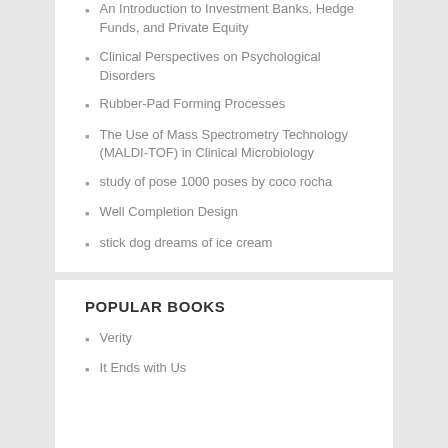An Introduction to Investment Banks, Hedge Funds, and Private Equity
Clinical Perspectives on Psychological Disorders
Rubber-Pad Forming Processes
The Use of Mass Spectrometry Technology (MALDI-TOF) in Clinical Microbiology
study of pose 1000 poses by coco rocha
Well Completion Design
stick dog dreams of ice cream
POPULAR BOOKS
Verity
It Ends with Us